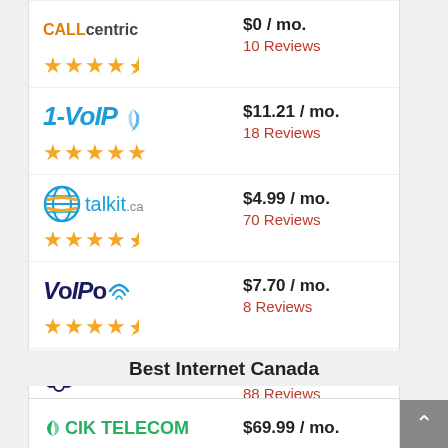[Figure (logo): CallCentric logo (partial, top of page)]
$0 / mo.
10 Reviews
[Figure (other): 4.5 star rating in orange stars]
[Figure (logo): 1-VoIP logo]
$11.21 / mo.
18 Reviews
[Figure (other): 5 star rating in orange stars]
[Figure (logo): talkit.ca logo with globe icon]
$4.99 / mo.
70 Reviews
[Figure (other): 4.5 star rating in orange stars]
[Figure (logo): VoIPo logo]
$7.70 / mo.
8 Reviews
[Figure (other): 4.5 star rating in orange stars]
[Figure (logo): ooma logo with flower icon]
$4.25 / mo.
88 Reviews
[Figure (other): 4 star rating in orange stars]
Best Internet Canada
[Figure (logo): CIK Telecom logo]
$69.99 / mo.